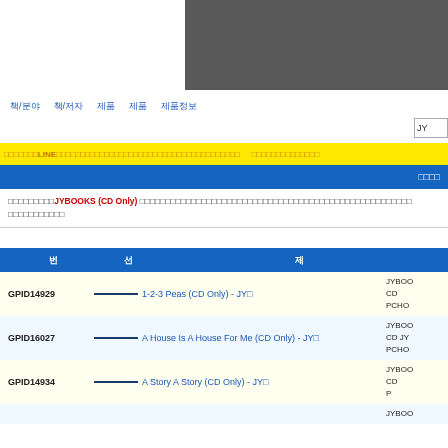[Figure (screenshot): Gray header/banner area at top right of page]
nav items: 책/분야 | 책/저자 | 제품 | 제품 | 제품정보
JY...
LINE으로 친구에게 알려주세요 ... 공유하기
관련상품
현재보시는JYBOOKS (CD Only) 상품은인터넷강의/교재정보/책/출판사/저자별/시리즈로 묶어 놓은 상품입니다.
| 번호 | 선택 | 제목 |
| --- | --- | --- |
| GPID14929 | —— | 1-2-3 Peas (CD Only) - JY□ |
| GPID16027 | —— | A House Is A House For Me (CD Only) - JY□ |
| GPID14934 | —— | A Story A Story (CD Only) - JY□ |